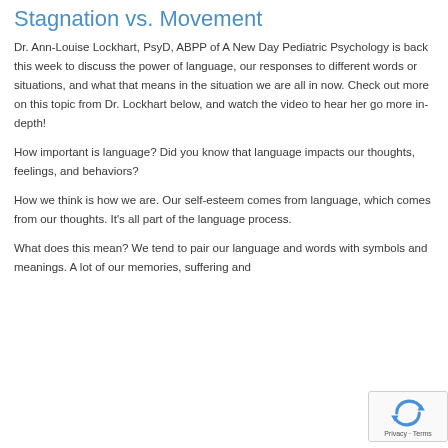Stagnation vs. Movement
Dr. Ann-Louise Lockhart, PsyD, ABPP of A New Day Pediatric Psychology is back this week to discuss the power of language, our responses to different words or situations, and what that means in the situation we are all in now. Check out more on this topic from Dr. Lockhart below, and watch the video to hear her go more in-depth!
How important is language? Did you know that language impacts our thoughts, feelings, and behaviors?
How we think is how we are. Our self-esteem comes from language, which comes from our thoughts. It’s all part of the language process.
What does this mean? We tend to pair our language and words with symbols and meanings. A lot of our memories, suffering and